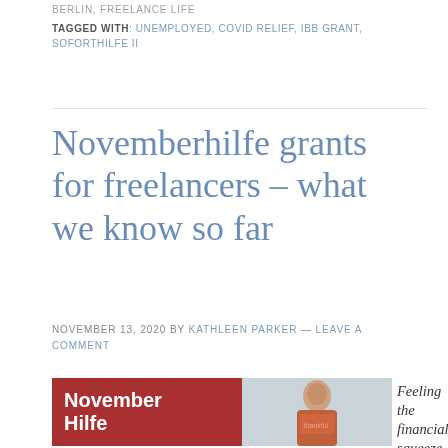BERLIN, FREELANCE LIFE
TAGGED WITH: UNEMPLOYED, COVID RELIEF, IBB GRANT, SOFORTHILFE II
Novemberhilfe grants for freelancers – what we know so far
NOVEMBER 13, 2020 BY KATHLEEN PARKER — LEAVE A COMMENT
[Figure (photo): Red box with white text 'November Hilfe' next to a photo of a man in an orange t-shirt]
Feeling the financial squeeze of Lockdown